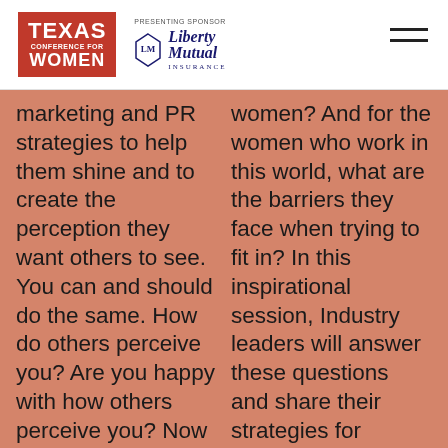[Figure (logo): Texas Conference for Women logo (red background, white text) with Liberty Mutual Insurance presenting sponsor logo and hamburger menu icon]
marketing and PR strategies to help them shine and to create the perception they want others to see. You can and should do the same. How do others perceive you? Are you happy with how others perceive you? Now is your chance to create a brand new brand for YOU! How is it...
women? And for the women who work in this world, what are the barriers they face when trying to fit in? In this inspirational session, Industry leaders will answer these questions and share their strategies for success around how they maintain their values in a workplace where they...